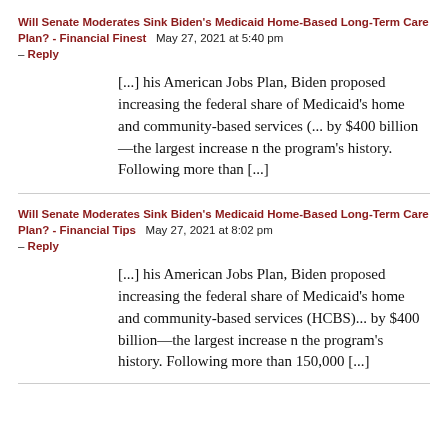Will Senate Moderates Sink Biden's Medicaid Home-Based Long-Term Care Plan? - Financial Finest   May 27, 2021 at 5:40 pm - Reply
[...] his American Jobs Plan, Biden proposed increasing the federal share of Medicaid's home and community-based services (... by $400 billion—the largest increase n the program's history. Following more than [...]
Will Senate Moderates Sink Biden's Medicaid Home-Based Long-Term Care Plan? - Financial Tips   May 27, 2021 at 8:02 pm - Reply
[...] his American Jobs Plan, Biden proposed increasing the federal share of Medicaid's home and community-based services (HCBS)... by $400 billion—the largest increase n the program's history. Following more than 150,000 [...]